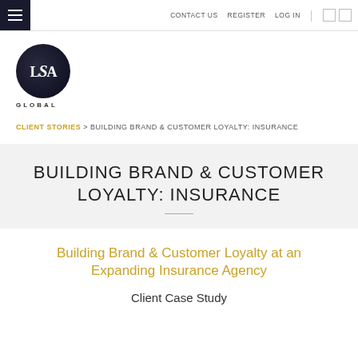CONTACT US   REGISTER   LOG IN
[Figure (logo): LSA Global circular logo with dark navy background and white text, with GLOBAL text below]
CLIENT STORIES > BUILDING BRAND & CUSTOMER LOYALTY: INSURANCE
BUILDING BRAND & CUSTOMER LOYALTY: INSURANCE
Building Brand & Customer Loyalty at an Expanding Insurance Agency
Client Case Study